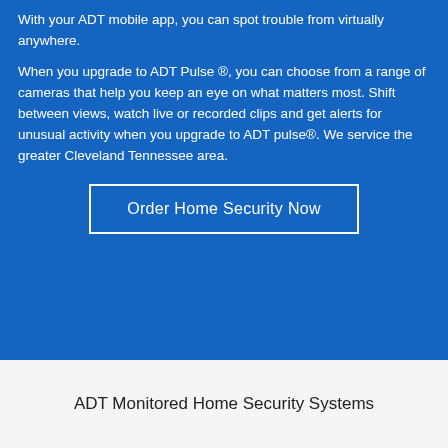With your ADT mobile app, you can spot trouble from virtually anywhere.
When you upgrade to ADT Pulse ®, you can choose from a range of cameras that help you keep an eye on what matters most. Shift between views, watch live or recorded clips and get alerts for unusual activity when you upgrade to ADT pulse®. We service the greater Cleveland Tennessee area.
Order Home Security Now
ADT Monitored Home Security Systems